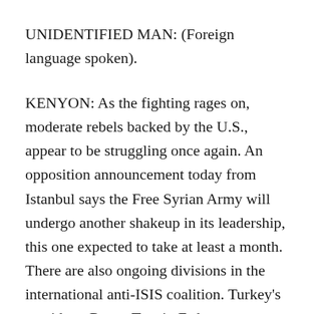UNIDENTIFIED MAN: (Foreign language spoken).
KENYON: As the fighting rages on, moderate rebels backed by the U.S., appear to be struggling once again. An opposition announcement today from Istanbul says the Free Syrian Army will undergo another shakeup in its leadership, this one expected to take at least a month. There are also ongoing divisions in the international anti-ISIS coalition. Turkey's president, Recep Tayyip Erdogan, continues to stray from the U.S. and Western line on Syria. He recently accused the West of favoring what he called Kurdish terrorists, while its airstrikes are displacing numerous Arabs and Turkmen. They're heading for Turkey in large numbers. The battle for Tel Abyad forced thousands of Syrians to pile up at the Akcakale border crossing into Turkey. Local officials tried to hold them back, insisting they could find safe areas on their